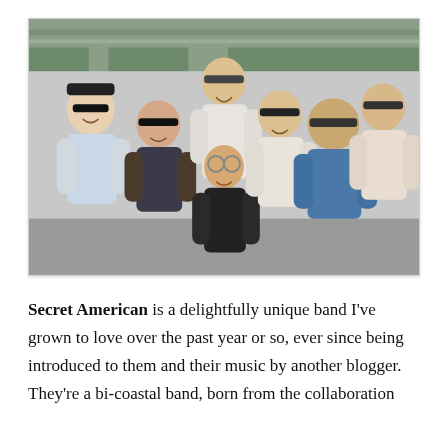[Figure (photo): Group photo of seven people (a band called Secret American) smiling and posing together outdoors under a bridge or overpass. Most are wearing sunglasses. They are casually dressed.]
Secret American is a delightfully unique band I've grown to love over the past year or so, ever since being introduced to them and their music by another blogger. They're a bi-coastal band, born from the collaboration